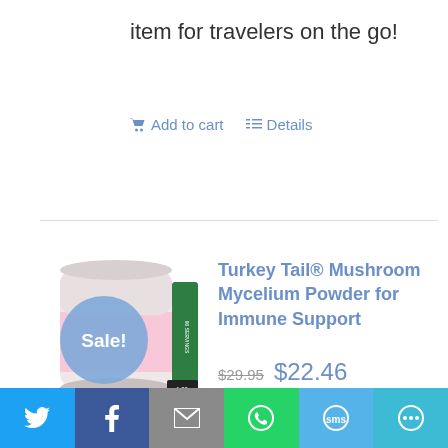item for travelers on the go!
Add to cart   Details
Turkey Tail® Mushroom Mycelium Powder for Immune Support
$29.95  $22.46
Turkey Tail Mushroom Mycelium helps to promote immune function
[Figure (other): Share bar with Twitter, Facebook, Email, WhatsApp, SMS, and more buttons]